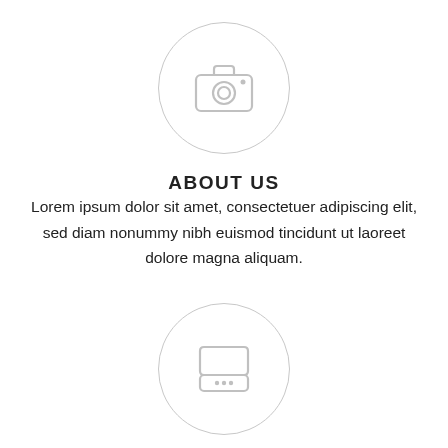[Figure (illustration): Camera icon inside a light gray circle, centered at top of page]
ABOUT US
Lorem ipsum dolor sit amet, consectetuer adipiscing elit, sed diam nonummy nibh euismod tincidunt ut laoreet dolore magna aliquam.
[Figure (illustration): Hard drive / server icon inside a light gray circle, centered]
SERVICES